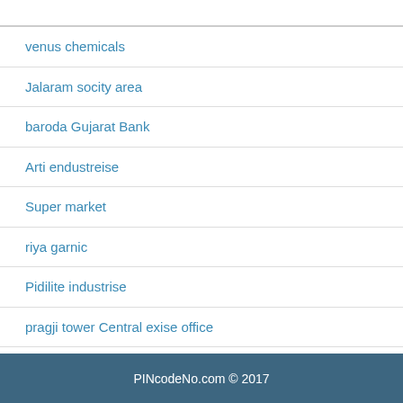venus chemicals
Jalaram socity area
baroda Gujarat Bank
Arti endustreise
Super market
riya garnic
Pidilite industrise
pragji tower Central exise office
Hema plastic
Azad kata
PINcodeNo.com © 2017